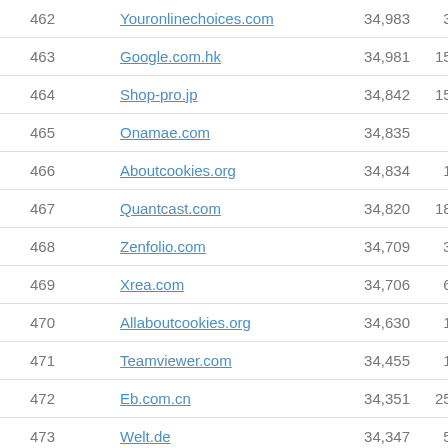| Rank | Domain | Unique Visitors | Pageviews |
| --- | --- | --- | --- |
| 462 | Youronlinechoices.com | 34,983 | 3,210,561 |
| 463 | Google.com.hk | 34,981 | 15,726,425 |
| 464 | Shop-pro.jp | 34,842 | 15,995,381 |
| 465 | Onamae.com | 34,835 | 290,706 |
| 466 | Aboutcookies.org | 34,834 | 1,496,233 |
| 467 | Quantcast.com | 34,820 | 18,732,863 |
| 468 | Zenfolio.com | 34,709 | 3,549,121 |
| 469 | Xrea.com | 34,706 | 6,263,546 |
| 470 | Allaboutcookies.org | 34,630 | 1,128,878 |
| 471 | Teamviewer.com | 34,455 | 1,781,194 |
| 472 | Eb.com.cn | 34,351 | 25,766,158 |
| 473 | Welt.de | 34,347 | 5,340,759 |
| 474 | Qiangmi.com | 34,221 | 14,079,349 |